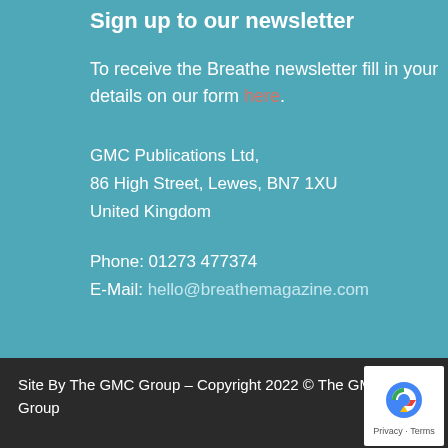Sign up to our newsletter
To receive the Breathe newsletter fill in your details on our form here.
GMC Publications Ltd,
86 High Street, Lewes, BN7 1XU
United Kingdom
Phone: 01273 477374
E-Mail: hello@breathemagazine.com
Site By The GMC Group – Copyright 2022 © The GMC Group